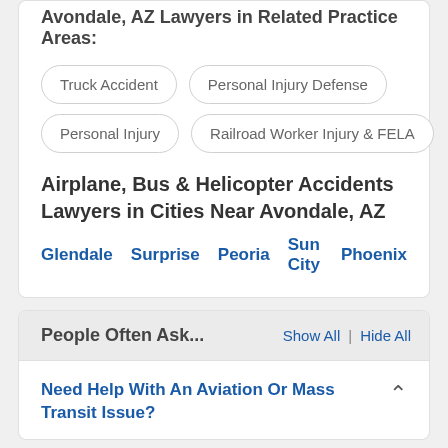Avondale, AZ Lawyers in Related Practice Areas:
Truck Accident
Personal Injury Defense
Personal Injury
Railroad Worker Injury & FELA
Airplane, Bus & Helicopter Accidents Lawyers in Cities Near Avondale, AZ
Glendale   Surprise   Peoria   Sun City   Phoenix
People Often Ask...
Show All | Hide All
Need Help With An Aviation Or Mass Transit Issue?